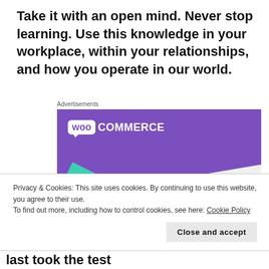Take it with an open mind. Never stop learning. Use this knowledge in your workplace, within your relationships, and how you operate in our world.
Advertisements
[Figure (screenshot): WooCommerce advertisement showing the logo on a purple background with teal and blue geometric shapes and text 'How to start selling subscriptions online']
Privacy & Cookies: This site uses cookies. By continuing to use this website, you agree to their use.
To find out more, including how to control cookies, see here: Cookie Policy
I'm an INFJ-A. In the 8 year span since I last took the test